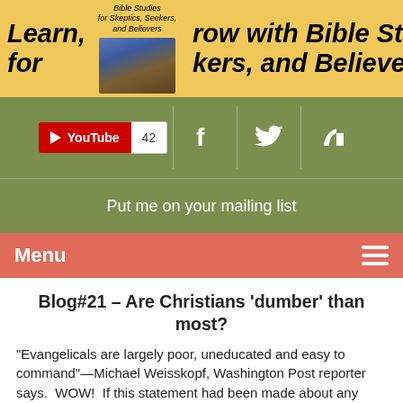[Figure (illustration): Website banner with yellow background showing italic bold text 'Learn, Grow with Bible Studies for Skeptics, Seekers, and Believers' with a book cover image in the center]
[Figure (screenshot): Social media bar on olive green background with YouTube button showing 42 subscribers, Facebook icon, Twitter icon, and RSS icon]
Put me on your mailing list
Menu
Blog#21 – Are Christians 'dumber' than most?
“Evangelicals are largely poor, uneducated and easy to command”—Michael Weisskopf, Washington Post reporter says.  WOW!  If this statement had been made about any other group, it would immediately been labeled as bigoted and racist. This statement also makes 2 huge assumptions: